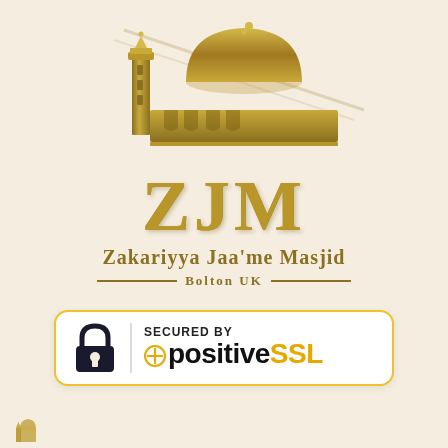[Figure (logo): Zakariyya Jaa'me Masjid Bolton UK logo featuring a mosque silhouette with minaret and dome, large gold ZJM letters, the full mosque name, and location text with decorative lines]
[Figure (logo): PositiveSSL security badge: white rounded rectangle with gold border, padlock icon, vertical divider, 'SECURED BY' text above '+positiveSSL' brand name in black and gold]
[Figure (logo): Small mosque dome icon at bottom left]